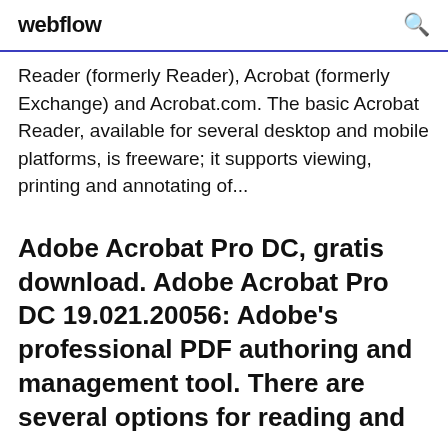webflow
Reader (formerly Reader), Acrobat (formerly Exchange) and Acrobat.com. The basic Acrobat Reader, available for several desktop and mobile platforms, is freeware; it supports viewing, printing and annotating of...
Adobe Acrobat Pro DC, gratis download. Adobe Acrobat Pro DC 19.021.20056: Adobe's professional PDF authoring and management tool. There are several options for reading and